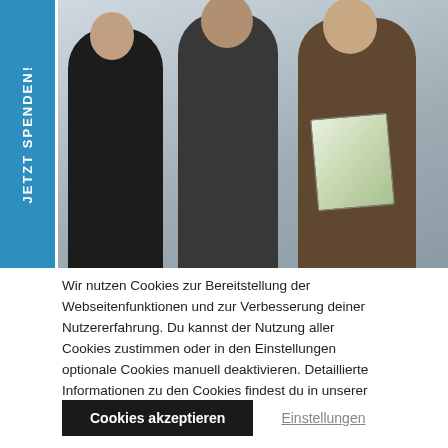[Figure (photo): Three people standing together; a woman on the left in black, a man in the center in dark clothing, and a man on the right in a brown suit holding a green booklet. Blue sidebar on the left with vertical text 'JETZT SPENDEN!']
Wir nutzen Cookies zur Bereitstellung der Webseitenfunktionen und zur Verbesserung deiner Nutzererfahrung. Du kannst der Nutzung aller Cookies zustimmen oder in den Einstellungen optionale Cookies manuell deaktivieren. Detaillierte Informationen zu den Cookies findest du in unserer Datenschutzerklärung.
Cookies akzeptieren
Einstellungen